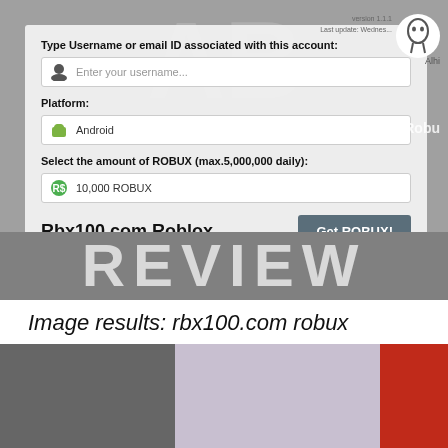[Figure (screenshot): Screenshot of rbx100.com Roblox ROBUX generator page showing username input, platform selector (Android), ROBUX amount (10,000 ROBUX), site title 'Rbx100.com Roblox', and a 'Get ROBUX!' button, overlaid with a large 'REVIEW' banner in gray]
Image results: rbx100.com robux
[Figure (photo): Partial photo showing a dark left portion and a red area on the right, consistent with a search image results thumbnail]